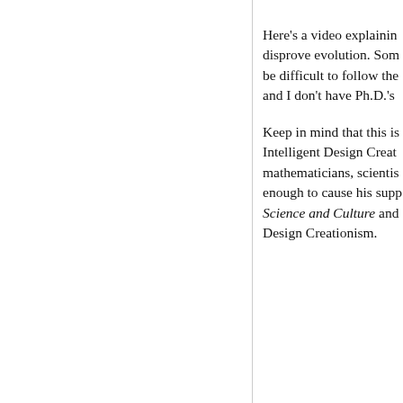Here's a video explaining how to disprove evolution. Som be difficult to follow the and I don't have Ph.D.'s
Keep in mind that this is Intelligent Design Creat mathematicians, scientis enough to cause his supp Science and Culture and Design Creationism.